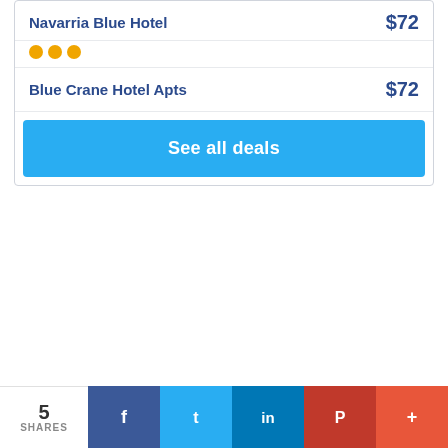Navarria Blue Hotel
$72
[Figure (other): Three yellow star rating dots]
Blue Crane Hotel Apts
$72
See all deals
5 SHARES | Facebook | Twitter | LinkedIn | Pinterest | More